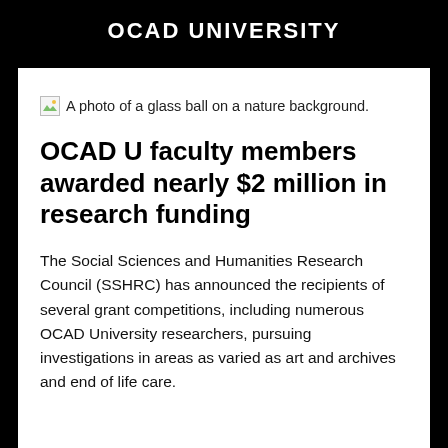OCAD UNIVERSITY
[Figure (photo): A broken/missing image placeholder with alt text: A photo of a glass ball on a nature background.]
OCAD U faculty members awarded nearly $2 million in research funding
The Social Sciences and Humanities Research Council (SSHRC) has announced the recipients of several grant competitions, including numerous OCAD University researchers, pursuing investigations in areas as varied as art and archives and end of life care.